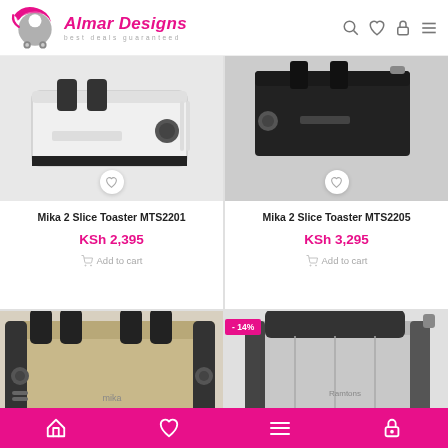Almar Designs — best deals guaranteed
[Figure (photo): Mika 2 Slice Toaster MTS2201 product photo — white/silver toaster on grey background]
Mika 2 Slice Toaster MTS2201
KSh 2,395
Add to cart
[Figure (photo): Mika 2 Slice Toaster MTS2205 product photo — black/dark toaster on grey background]
Mika 2 Slice Toaster MTS2205
KSh 3,295
Add to cart
[Figure (photo): Mika 4 slice toaster — stainless steel with black accents, front view]
[Figure (photo): Mika long slot 2 slice toaster — silver/stainless steel, with -14% discount badge]
Bottom navigation bar with home, wishlist, menu, and account icons